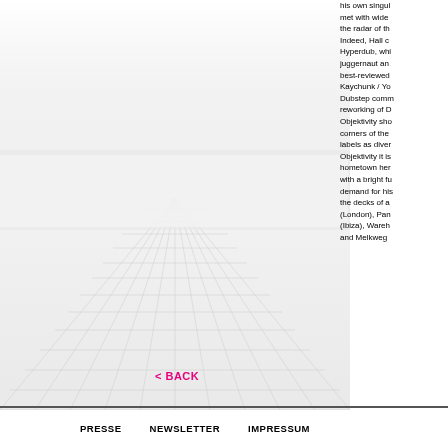[Figure (illustration): 3D perspective grid floor/room with white tiles and gray lines, fading to white in the upper portion, left side of the page]
his own singular met with wide the radar of th Indeed, Hall ca Hyperdub, whi juggernaut ant best-reviewed Kaychunk / Yo Dubstep comn reworking of D Objektivity sho corners of the labels as diver Objektivity it is hometown her with a bright fu demand for his the decks of a (London), Pan (Ibiza), Wareh and Melkweg
< BACK
PRESSE   NEWSLETTER   IMPRESSUM